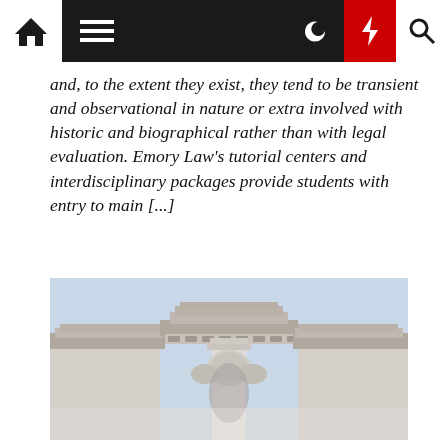Navigation bar with home, menu, moon, bolt, and search icons
and, to the extent they exist, they tend to be transient and observational in nature or extra involved with historic and biographical rather than with legal evaluation. Emory Law's tutorial centers and interdisciplinary packages provide students with entry to main [...]
[Figure (photo): Upward view of a classical stone building with ornate columns and decorative architectural details against a pale blue sky]